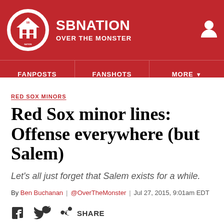SBNation / OVER THE MONSTER
RED SOX MINORS
Red Sox minor lines: Offense everywhere (but Salem)
Let's all just forget that Salem exists for a while.
By Ben Buchanan | @OverTheMonster | Jul 27, 2015, 9:01am EDT
SHARE